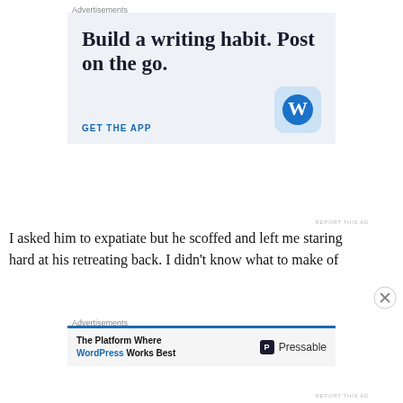Advertisements
[Figure (illustration): WordPress advertisement banner with light blue background. Large text reads 'Build a writing habit. Post on the go.' with 'GET THE APP' link and WordPress 'W' logo icon in a rounded square.]
REPORT THIS AD
I asked him to expatiate but he scoffed and left me staring hard at his retreating back. I didn't know what to make of
Advertisements
[Figure (illustration): Pressable advertisement banner. Text reads 'The Platform Where WordPress Works Best' with Pressable logo on the right.]
REPORT THIS AD